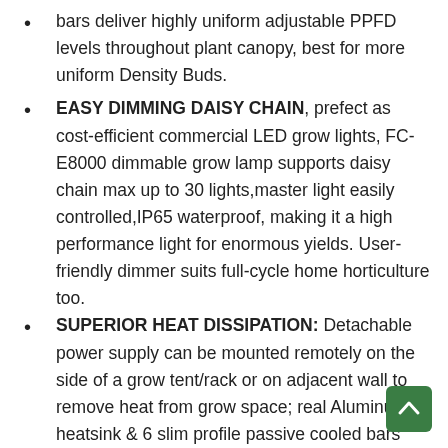bars deliver highly uniform adjustable PPFD levels throughout plant canopy, best for more uniform Density Buds.
EASY DIMMING DAISY CHAIN, prefect as cost-efficient commercial LED grow lights, FC-E8000 dimmable grow lamp supports daisy chain max up to 30 lights,master light easily controlled,IP65 waterproof, making it a high performance light for enormous yields. User-friendly dimmer suits full-cycle home horticulture too.
SUPERIOR HEAT DISSIPATION: Detachable power supply can be mounted remotely on the side of a grow tent/rack or on adjacent wall to remove heat from grow space; real Aluminum heatsink & 6 slim profile passive cooled bars (THINNER & LARGER surface) creat less heat, drop 50% in electricity bill than HID lights!
FULL SPECTRUM LED GROW LIGHT: With high-intensity spectrum (2800k-5000knm, 660-665nm